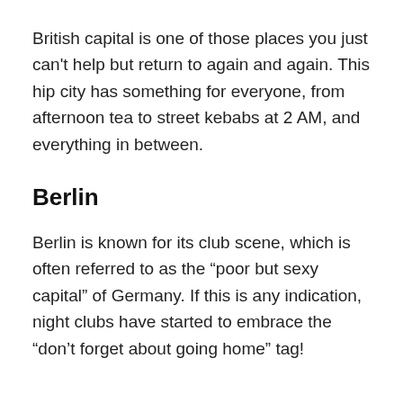British capital is one of those places you just can't help but return to again and again. This hip city has something for everyone, from afternoon tea to street kebabs at 2 AM, and everything in between.
Berlin
Berlin is known for its club scene, which is often referred to as the “poor but sexy capital” of Germany. If this is any indication, night clubs have started to embrace the “don’t forget about going home” tag!